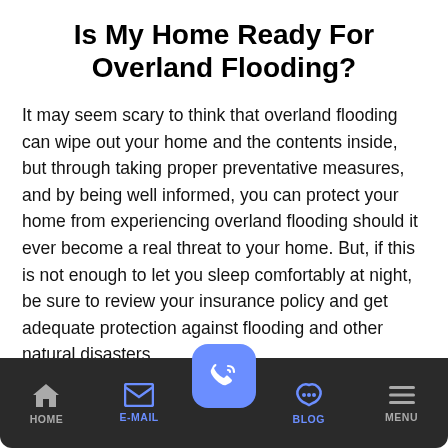Is My Home Ready For Overland Flooding?
It may seem scary to think that overland flooding can wipe out your home and the contents inside, but through taking proper preventative measures, and by being well informed, you can protect your home from experiencing overland flooding should it ever become a real threat to your home. But, if this is not enough to let you sleep comfortably at night, be sure to review your insurance policy and get adequate protection against flooding and other natural disasters.
HOME | E-MAIL | [call button] | BLOG | MENU